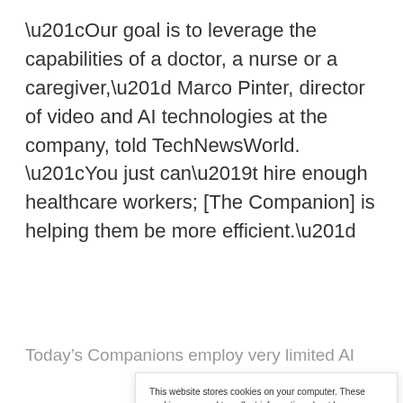“Our goal is to leverage the capabilities of a doctor, a nurse or a caregiver,” Marco Pinter, director of video and AI technologies at the company, told TechNewsWorld. “You just can’t hire enough healthcare workers; [The Companion] is helping them be more efficient.”
Today’s Companions employ very limited AI functionality
This website stores cookies on your computer. These cookies are used to collect information about how you interact with our website and allow us to remember you. We use this information in order to improve and customize your browsing experience and for analytics and metrics about our visitors both on this website and other media. To find out more about the cookies we use, see our Privacy Policy. California residents have the right to direct us not to sell their personal information to third parties by filing an Opt-Out Request: Do Not Sell My Personal Info.
Accept